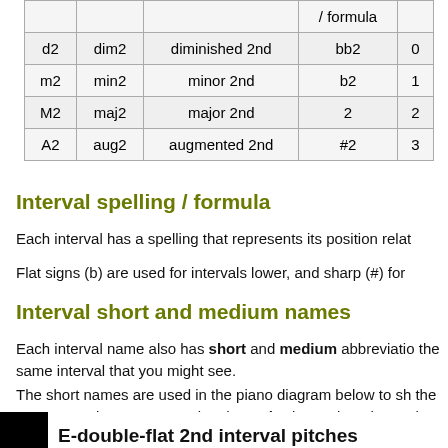|  |  |  | / formula |  |
| --- | --- | --- | --- | --- |
| d2 | dim2 | diminished 2nd | bb2 | 0 |
| m2 | min2 | minor 2nd | b2 | 1 |
| M2 | maj2 | major 2nd | 2 | 2 |
| A2 | aug2 | augmented 2nd | #2 | 3 |
Interval spelling / formula
Each interval has a spelling that represents its position relat
Flat signs (b) are used for intervals lower, and sharp (#) for
Interval short and medium names
Each interval name also has short and medium abbreviations the same interval that you might see.
The short names are used in the piano diagram below to show the orange number 0 representing the major interval, and the number of half-tones / semitones up or down relative to that
E-double-flat 2nd interval pitches